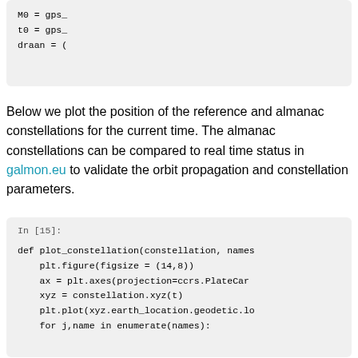[Figure (screenshot): Code block showing partial Python code: M0 = gps_, t0 = gps_, draan = (]
Below we plot the position of the reference and almanac constellations for the current time. The almanac constellations can be compared to real time status in galmon.eu to validate the orbit propagation and constellation parameters.
[Figure (screenshot): Jupyter notebook code cell In [15]: defining plot_constellation function with plt.figure, ax = plt.axes with PlateCarr projection, xyz = constellation.xyz(t), plt.plot(xyz.earth_location.geodetic.lo, for j,name in enumerate(names):]